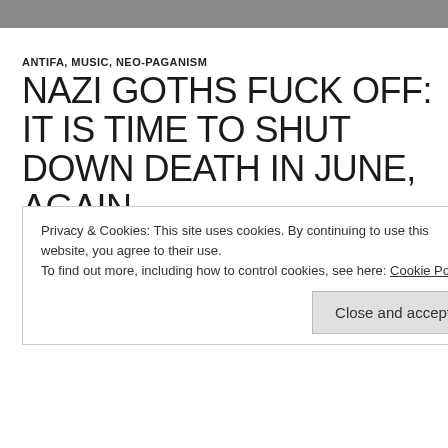ANTIFA, MUSIC, NEO-PAGANISM
NAZI GOTHS FUCK OFF: IT IS TIME TO SHUT DOWN DEATH IN JUNE, AGAIN
NOVEMBER 10, 2015  ANTIFASCISTFRONT  20 COMMENTS
So as followers of this blog will note, we have stayed closely to the more fringe elements of white nationalism and the far right. This means looking towards various Third Positionist
Privacy & Cookies: This site uses cookies. By continuing to use this website, you agree to their use.
To find out more, including how to control cookies, see here: Cookie Policy
Close and accept